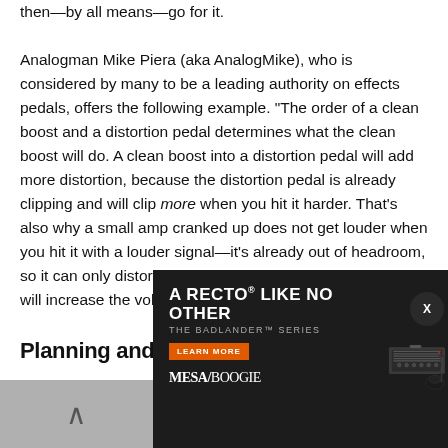then—by all means—go for it.

Analogman Mike Piera (aka AnalogMike), who is considered by many to be a leading authority on effects pedals, offers the following example. "The order of a clean boost and a distortion pedal determines what the clean boost will do. A clean boost into a distortion pedal will add more distortion, because the distortion pedal is already clipping and will clip more when you hit it harder. That's also why a small amp cranked up does not get louder when you hit it with a louder signal—it's already out of headroom, so it can only distort more. A clean boost after a dirt pedal will increase the volume, without adding more distortion."
Planning and Layout
Physical planning... on the shape of your pedals and the amount of real estate
[Figure (other): Mesa/Boogie advertisement for the Badlander Series amplifier with text 'A RECTO LIKE NO OTHER - THE BADLANDER SERIES', a Learn More button, Mesa/Boogie logo, and an image of a guitar amplifier head with a guitar]